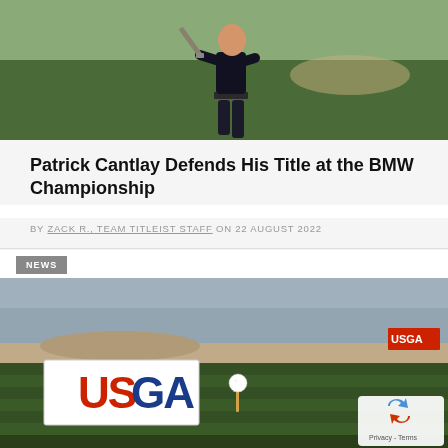[Figure (photo): Golfer in black shirt mid-swing on a golf course with green background]
Patrick Cantlay Defends His Title at the BMW Championship
BY ZACK R., TEAM TITLEIST STAFF ON 22 AUGUST 2022
NEWS
[Figure (photo): Golf course with USGA sign on green, golf ball on tee, overcast sky]